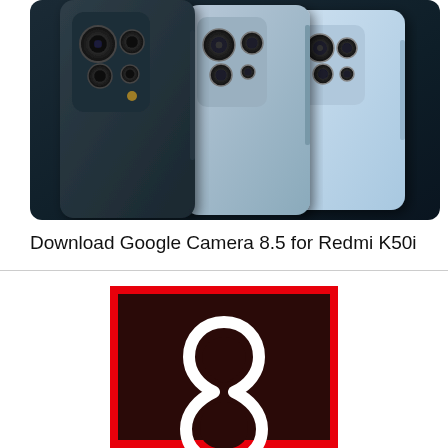[Figure (photo): Two Xiaomi Redmi K50i smartphones shown from the back, one in dark grey/black and one in light silver/blue, displaying triple camera modules with rounded rectangular housing, against a dark gradient background.]
Download Google Camera 8.5 for Redmi K50i
[Figure (logo): Adobe Acrobat logo: dark brown/black square with red border, featuring the white stylized 'A' Acrobat symbol in the center.]